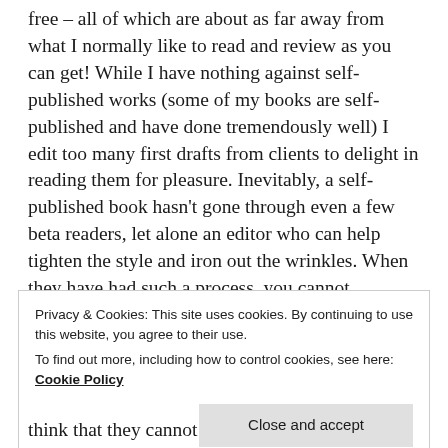uploaded to the Smashwords website and available for free – all of which are about as far away from what I normally like to read and review as you can get! While I have nothing against self-published works (some of my books are self-published and have done tremendously well) I edit too many first drafts from clients to delight in reading them for pleasure. Inevitably, a self-published book hasn't gone through even a few beta readers, let alone an editor who can help tighten the style and iron out the wrinkles. When they have had such a process, you cannot distinguish between self-published and published through a trad publisher and I truly don't understand why budding
Privacy & Cookies: This site uses cookies. By continuing to use this website, you agree to their use.
To find out more, including how to control cookies, see here: Cookie Policy
Close and accept
think that they cannot...